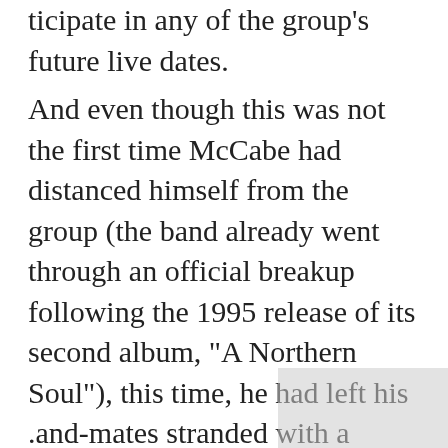With the band and decided not to participate in any of the group's future live dates.
And even though this was not the first time McCabe had distanced himself from the group (the band already went through an official breakup following the 1995 release of its second album, "A Northern Soul"), this time, he had left his .and-mates stranded with a string-full of touring commitments, with no wav of renroducina his unique sound